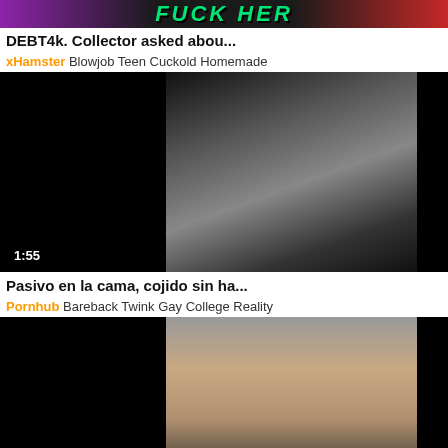[Figure (screenshot): Banner ad with stylized text on dark background]
DEBT4k. Collector asked abou...
xHamster Blowjob Teen Cuckold Homemade
[Figure (screenshot): Video thumbnail showing dark scene, duration 1:55]
Pasivo en la cama, cojido sin ha...
Pornhub Bareback Twink Gay College Reality
[Figure (screenshot): Video thumbnail showing scene, duration 0:21]